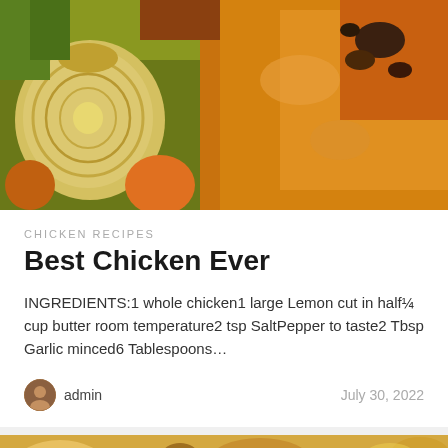[Figure (photo): Close-up photo of roasted chicken with vegetables including onions and peppers, golden brown skin, top portion of a recipe card image]
CHICKEN RECIPES
Best Chicken Ever
INGREDIENTS:1 whole chicken1 large Lemon cut in half¼ cup butter room temperature2 tsp SaltPepper to taste2 Tbsp Garlic minced6 Tablespoons…
admin   July 30, 2022
[Figure (photo): Close-up photo of a cheesy baked casserole dish, golden brown top, partially shown at bottom of page]